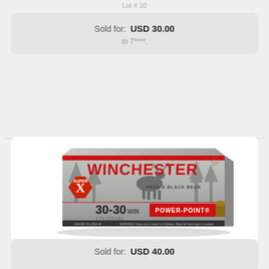Lot # 10
Sold for: USD 30.00
to T****.
[Figure (photo): Box of Winchester Super-X 30-30 WIN 170 Grain Power-Point ammunition, silver box with red Winchester logo and deer silhouette.]
NIB 20rds. of .30-30 WIN. 170gr. Winchester Super-X Power Point Ammunition
Lot # 11
Sold for: USD 40.00